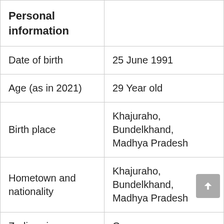| Personal information |  |
| --- | --- |
| Date of birth | 25 June 1991 |
| Age (as in 2021) | 29 Year old |
| Birth place | Khajuraho, Bundelkhand, Madhya Pradesh |
| Hometown and nationality | Khajuraho, Bundelkhand, Madhya Pradesh |
| Zodiac sign | Cancer |
|  | Home Ridi... |